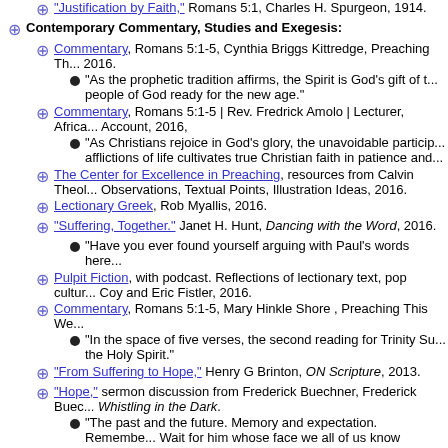"Justification by Faith," Romans 5:1, Charles H. Spurgeon, 1914.
Contemporary Commentary, Studies and Exegesis:
Commentary, Romans 5:1-5, Cynthia Briggs Kittredge, Preaching Th... 2016.
"As the prophetic tradition affirms, the Spirit is God's gift of t... people of God ready for the new age."
Commentary, Romans 5:1-5 | Rev. Fredrick Amolo | Lecturer, Africa... Account, 2016,
"As Christians rejoice in God's glory, the unavoidable particip... afflictions of life cultivates true Christian faith in patience and...
The Center for Excellence in Preaching, resources from Calvin Theol... Observations, Textual Points, Illustration Ideas, 2016.
Lectionary Greek, Rob Myallis, 2016.
"Suffering, Together." Janet H. Hunt, Dancing with the Word, 2016.
"Have you ever found yourself arguing with Paul's words here...
Pulpit Fiction, with podcast. Reflections of lectionary text, pop cultur... Coy and Eric Fistler, 2016.
Commentary, Romans 5:1-5, Mary Hinkle Shore, Preaching This We...
"In the space of five verses, the second reading for Trinity Su... the Holy Spirit."
"From Suffering to Hope," Henry G Brinton, ON Scripture, 2013.
"Hope," sermon discussion from Frederick Buechner, Frederick Buec... Whistling in the Dark.
"The past and the future. Memory and expectation. Remembe... Wait for him whose face we all of us know because somewhere... it, whose life we all of us thirst for because somewhere in the...